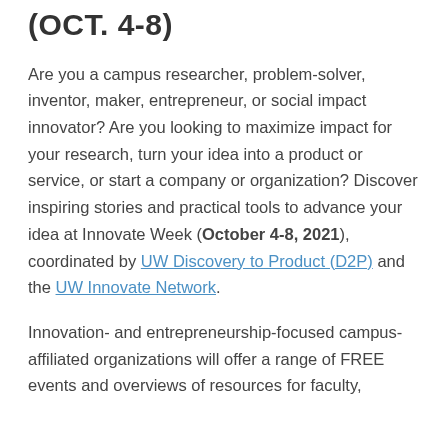(OCT. 4-8)
Are you a campus researcher, problem-solver, inventor, maker, entrepreneur, or social impact innovator? Are you looking to maximize impact for your research, turn your idea into a product or service, or start a company or organization? Discover inspiring stories and practical tools to advance your idea at Innovate Week (October 4-8, 2021), coordinated by UW Discovery to Product (D2P) and the UW Innovate Network.
Innovation- and entrepreneurship-focused campus-affiliated organizations will offer a range of FREE events and overviews of resources for faculty, students, and staff during Innovate Week.